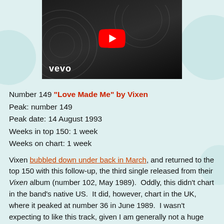[Figure (screenshot): YouTube/Vevo video thumbnail showing a dark background with vinyl records, Vevo logo in white text at bottom left, and a red YouTube play button icon in the center.]
Number 149 "Love Made Me" by Vixen
Peak: number 149
Peak date: 14 August 1993
Weeks in top 150: 1 week
Weeks on chart: 1 week
Vixen bubbled down under back in March, and returned to the top 150 with this follow-up, the third single released from their Vixen album (number 102, May 1989). Oddly, this didn't chart in the band's native US. It did, however, chart in the UK, where it peaked at number 36 in June 1989. I wasn't expecting to like this track, given I am generally not a huge 'metal' fan, but I think it's actually quite pleasant. This would be Vixen's last single to chart in Australia, but they had